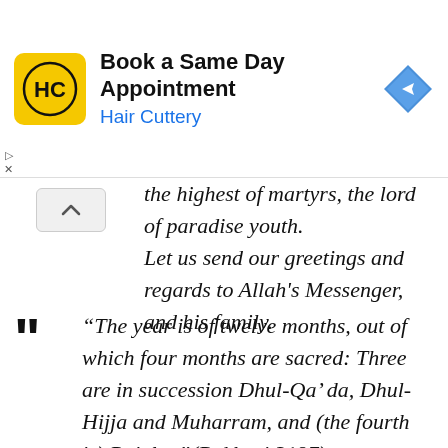[Figure (screenshot): Advertisement banner for Hair Cuttery: 'Book a Same Day Appointment' with HC logo and navigation icon]
the highest of martyrs, the lord of paradise youth.
Let us send our greetings and regards to Allah's Messenger, and his family.
“The year is of twelve months, out of which four months are sacred: Three are in succession Dhul-Qa’ da, Dhul-Hijja and Muharram, and (the fourth is) Rajab...”(Bukhari 3197)
Gratitude to Allah for all the blessings